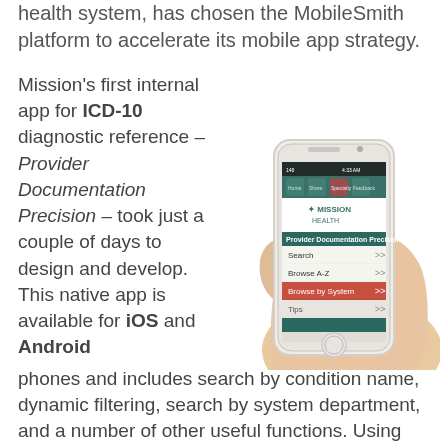health system, has chosen the MobileSmith platform to accelerate its mobile app strategy.
Mission’s first internal app for ICD-10 diagnostic reference – Provider Documentation Precision – took just a couple of days to design and develop. This native app is available for iOS and Android phones and includes search by condition name, dynamic filtering, search by system department, and a number of other useful functions. Using the
[Figure (photo): A hand holding a white iPhone displaying the Mission Health 'Provider Documentation Precision' app with menu options: Search, Browse A-Z, Browse by System, Tips]